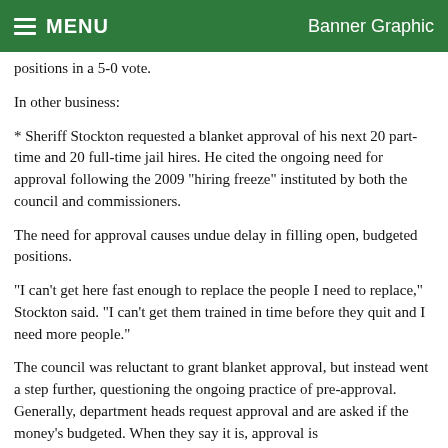MENU   Banner Graphic
positions in a 5-0 vote.
In other business:
* Sheriff Stockton requested a blanket approval of his next 20 part-time and 20 full-time jail hires. He cited the ongoing need for approval following the 2009 "hiring freeze" instituted by both the council and commissioners.
The need for approval causes undue delay in filling open, budgeted positions.
"I can't get here fast enough to replace the people I need to replace," Stockton said. "I can't get them trained in time before they quit and I need more people."
The council was reluctant to grant blanket approval, but instead went a step further, questioning the ongoing practice of pre-approval. Generally, department heads request approval and are asked if the money's budgeted. When they say it is, approval is